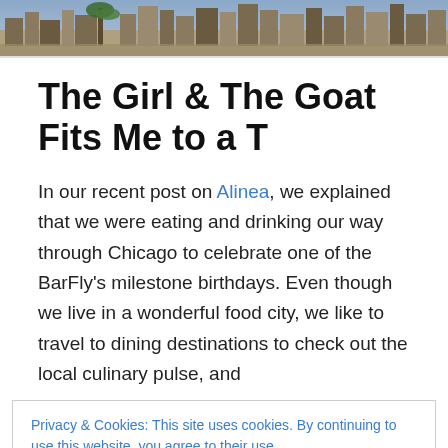[Figure (photo): City skyline banner image with buildings, palm trees, and an urban landscape in a warm tone.]
The Girl & The Goat Fits Me to a T
In our recent post on Alinea, we explained that we were eating and drinking our way through Chicago to celebrate one of the BarFly’s milestone birthdays. Even though we live in a wonderful food city, we like to travel to dining destinations to check out the local culinary pulse, and
Privacy & Cookies: This site uses cookies. By continuing to use this website, you agree to their use.
To find out more, including how to control cookies, see here: Cookie Policy
We couldn’t say it better than their own description on on